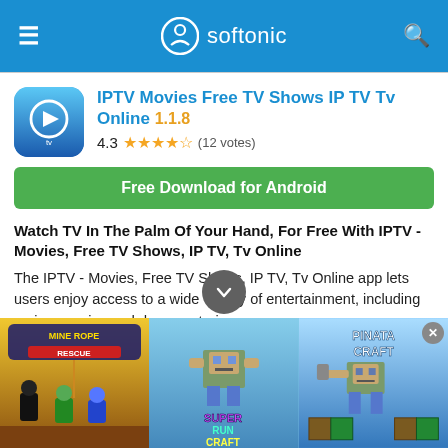softonic
IPTV Movies Free TV Shows IP TV Tv Online 1.1.8
4.3 ★★★★½ (12 votes)
Free Download for Android
Watch TV In The Palm Of Your Hand, For Free With IPTV - Movies, Free TV Shows, IP TV, Tv Online
The IPTV - Movies, Free TV Shows, IP TV, Tv Online app lets users enjoy access to a wide variety of entertainment, including series, movies and documentaries...
Android | Fifty Shades of Grey apps…oid | apps to watch tamil movies
[Figure (screenshot): Advertisement banner showing three mobile game apps: Mine Rope Rescue, Super Run Craft, and Pinata Craft]